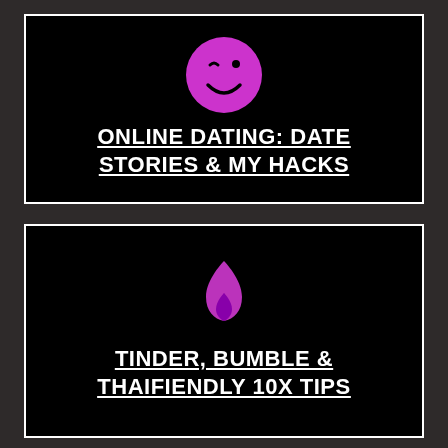[Figure (illustration): Black card with white border containing a purple winking smiley face emoji and bold white underlined text reading ONLINE DATING: DATE STORIES & MY HACKS]
[Figure (illustration): Black card with white border containing a purple flame emoji and bold white underlined text reading TINDER, BUMBLE & THAIFIENDLY 10X TIPS]